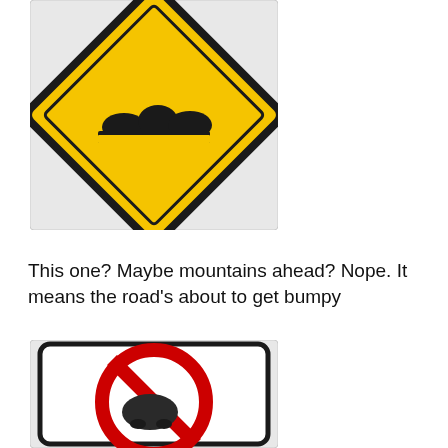[Figure (illustration): Yellow diamond-shaped road warning sign showing bumpy road / rough road ahead — a black silhouette of bumps along a horizontal surface, inside a yellow diamond with black border, shown inside a light gray rectangular frame.]
This one? Maybe mountains ahead? Nope. It means the road's about to get bumpy
[Figure (illustration): White rectangular road sign with rounded corners and black border, showing a red circle with a diagonal red bar (prohibition symbol) over a dark figure — a no overtaking or no passing sign, partially cropped at the bottom.]